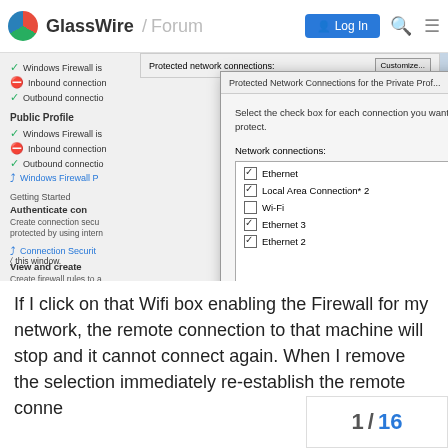GlassWire / Forum  Log In
[Figure (screenshot): Windows Firewall Protected Network Connections dialog showing network connections: Ethernet (checked), Local Area Connection* 2 (checked), Wi-Fi (unchecked), Ethernet 3 (checked), Ethernet 2 (checked), with OK and Cancel buttons.]
If I click on that Wifi box enabling the Firewall for my network, the remote connection to that machine will stop and it cannot connect again. When I remove the selectio immediately re-establish the remote conne
1 / 16